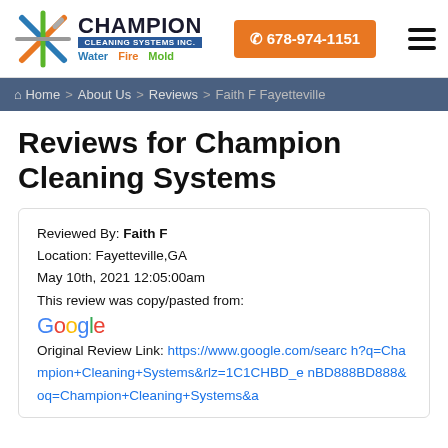[Figure (logo): Champion Cleaning Systems Inc. logo with stylized X icon and taglines Water, Fire, Mold]
678-974-1151
Home > About Us > Reviews > Faith F Fayetteville
Reviews for Champion Cleaning Systems
Reviewed By: Faith F
Location: Fayetteville,GA
May 10th, 2021 12:05:00am
This review was copy/pasted from:
Google
Original Review Link: https://www.google.com/search?q=Champion+Cleaning+Systems&rlz=1C1CHBD_enBD888BD888&oq=Champion+Cleaning+Systems&a